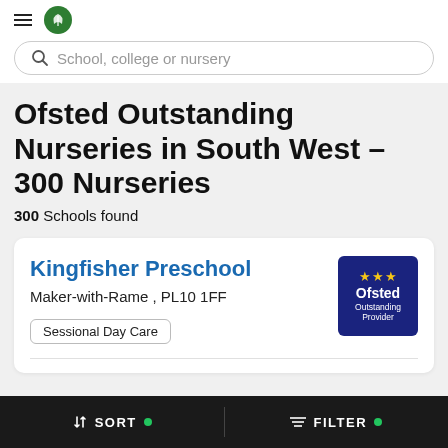School, college or nursery
Ofsted Outstanding Nurseries in South West – 300 Nurseries
300 Schools found
Kingfisher Preschool
Maker-with-Rame , PL10 1FF
Sessional Day Care
SORT   FILTER